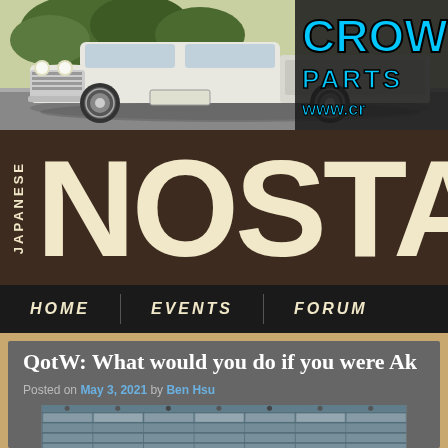[Figure (photo): Banner advertisement showing a white vintage Japanese car (Toyota Crown pickup) with 'CROWN' text in blue and 'PARTS' and 'www.cr...' URL text]
[Figure (logo): Japanese Nostalgic Car website logo: 'JAPANESE' written vertically on left side, 'NOSTALG' in large cream letters on dark brown background]
HOME   EVENTS   FORUM
QotW: What would you do if you were Ak
Posted on May 3, 2021 by Ben Hsu
[Figure (photo): Partial view of a modern building exterior with glass panels and architectural details, viewed from below at an angle]